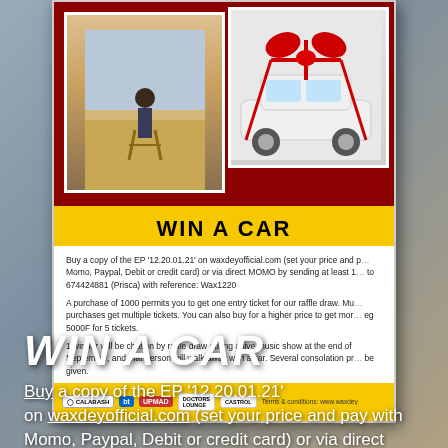[Figure (photo): Promotional poster for a car giveaway contest. Dark red background with a photo of a person sitting in a director's chair in a desert setting, and a white car decorated with a large red bow as a gift. Yellow brush-stroke banner reads WIN A CAR. Body text explains how to enter by buying an EP. Sponsor logos at bottom including Calabash, BT, UPMAD, Doctors Lounge, Castrol. Terms and conditions reference to waxdey website.]
WIN A CAR
Buy a copy of the EP '12.20.01.21' on waxdeyofficial.com (set your price and pay with Momo, Paypal, Debit or credit card) or via direct MOMO by sending at least R1000 to 674424881